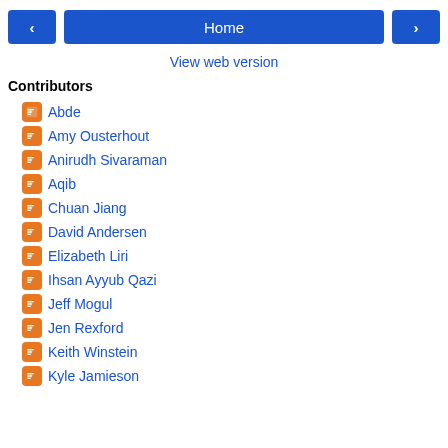< Home >
View web version
Contributors
Abde
Amy Ousterhout
Anirudh Sivaraman
Aqib
Chuan Jiang
David Andersen
Elizabeth Liri
Ihsan Ayyub Qazi
Jeff Mogul
Jen Rexford
Keith Winstein
Kyle Jamieson